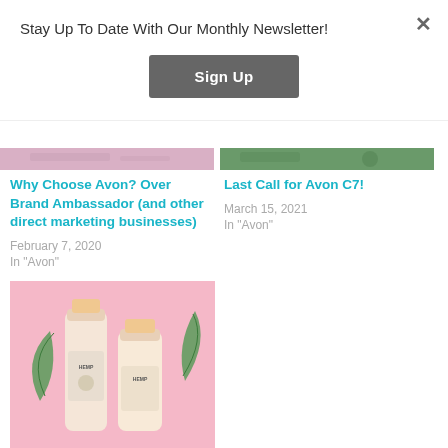Stay Up To Date With Our Monthly Newsletter!
Sign Up
[Figure (photo): Cropped top portion of a pink product image with text]
Why Choose Avon? Over Brand Ambassador (and other direct marketing businesses)
February 7, 2020
In "Avon"
[Figure (photo): Cropped top portion of a purple floral image]
Last Call for Avon C7!
March 15, 2021
In "Avon"
[Figure (photo): Two hemp shampoo and conditioner bottles on pink background with green hemp leaves]
Amazing Hemp Shampoo & Macadamia Oil Products
September 15, 2021